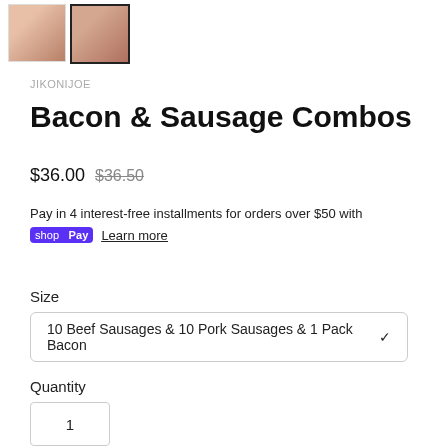[Figure (photo): Two product thumbnail images of bacon and sausage packages. Second image is selected with border.]
JIKONIJOE
Bacon & Sausage Combos
$36.00  $36.50
Pay in 4 interest-free installments for orders over $50 with
shop Pay  Learn more
Size
10 Beef Sausages & 10 Pork Sausages & 1 Pack Bacon
Quantity
1